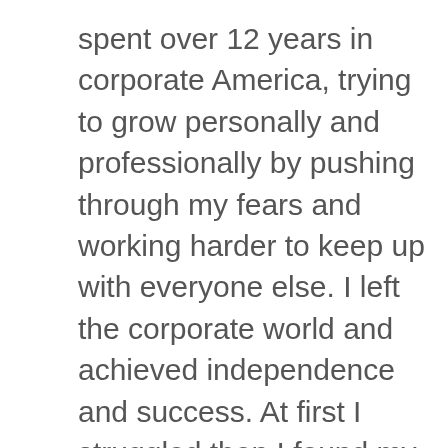spent over 12 years in corporate America, trying to grow personally and professionally by pushing through my fears and working harder to keep up with everyone else. I left the corporate world and achieved independence and success. At first I struggled then I found my groove, and made it to the multiple-six-figure level.
But at a huge cost.